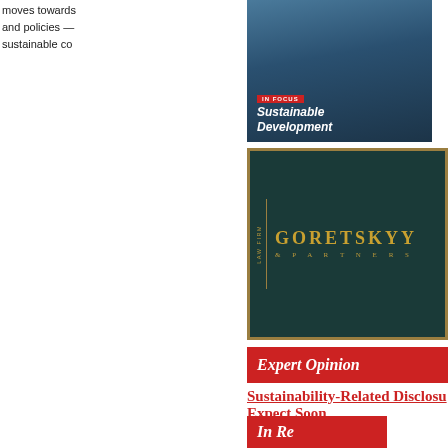[Figure (photo): Magazine cover showing a man in a suit with text 'IN FOCUS Sustainable Development' and environmental-related article titles]
moves towards and policies — sustainable co
[Figure (logo): Goretskyy & Partners Law Firm logo on dark teal background with gold lettering]
Expert Opinion
Sustainability-Related Disclosu... Expect Soon
by Stepanyda Badovska
On 25 November 2021, the National Ba Development Policy 2025, which unveiled r financial services market in line with best in environmental, social and governance (ESG
Stepanyda Badovska is an associate at Bak
In Re